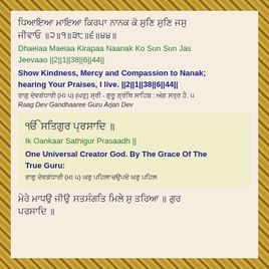ਧਿਆਇਆ ਮਾਇਆ ਕਿਰਪਾ ਨਾਨਕ ਕੋ ਸੁਣਿ ਸੁਣਿ ਜਸੁ ਜੀਵਾਓ ॥੨॥੧॥੩੮॥੬॥੪੪॥
Dhaeiaa Maeiaa Kirapaa Naanak Ko Sun Sun Jas Jeevaao ||2||1||38||6||44||
Show Kindness, Mercy and Compassion to Nanak; hearing Your Praises, I live. ||2||1||38||6||44||
ਰਾਗੁ ਦੇਵਗੰਧਾਰੀ (ਮਃ ੫) (ਘਰੁ) ਸ੍ਰੀ - ਗੁਰੂ ਗ੍ਰੰਥਿ ਸਾਹਿਬ : ਅੰਗ ਸਤ੍ਰ ਹੈ. ੫
Raag Dev Gandhaaree Guru Arjan Dev
ੴ ਸਤਿਗੁਰ ਪ੍ਰਸਾਦਿ ॥
Ik Oankaar Sathigur Prasaadh ||
One Universal Creator God. By The Grace Of The True Guru:
ਰਾਗੁ ਦੇਵਗੰਧਾਰੀ (ਮਃ ੫) ਘਰੁ ਪਹਿਲਾ ਚਉਪਦੇ ਘਰੁ ਪਹਿਲ
ਮੇਰੇ ਮਾਧਉ ਜੀਉ ਸਤਸੰਗਤਿ ਮਿਲੇ ਸੁ ਤਰਿਆ ॥ ਗੁਰ ਪਰਸਾਦਿ ॥